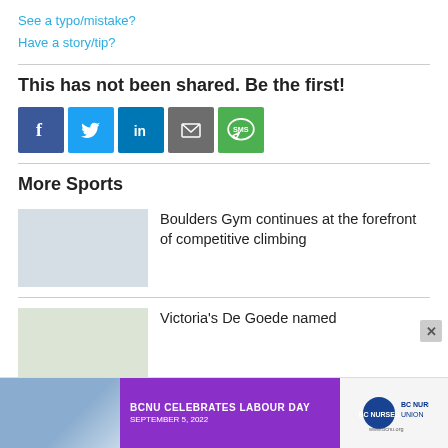See a typo/mistake?
Have a story/tip?
This has not been shared. Be the first!
[Figure (infographic): Social share buttons: Facebook (blue), Twitter (light blue), LinkedIn (dark blue), Email (grey), SMS (green)]
More Sports
Boulders Gym continues at the forefront of competitive climbing
Victoria's De Goede named
[Figure (infographic): BCNU Celebrates Labour Day advertisement, September 5, 2022, with BC Nurses Union logo]